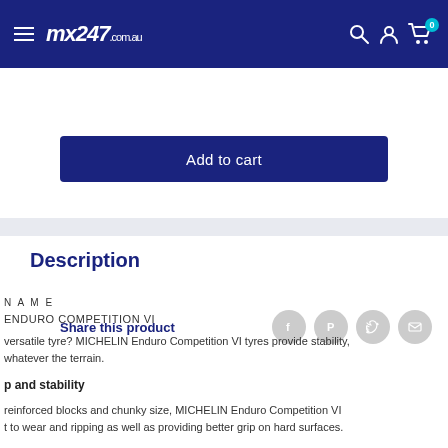mx247.com.au — navigation bar with hamburger menu, logo, search, account, cart (0)
Add to cart
Share this product
Description
NAME
ENDURO COMPETITION VI
versatile tyre? MICHELIN Enduro Competition VI tyres provide stability, whatever the terrain.
p and stability
reinforced blocks and chunky size, MICHELIN Enduro Competition VI
t to wear and ripping as well as providing better grip on hard surfaces.